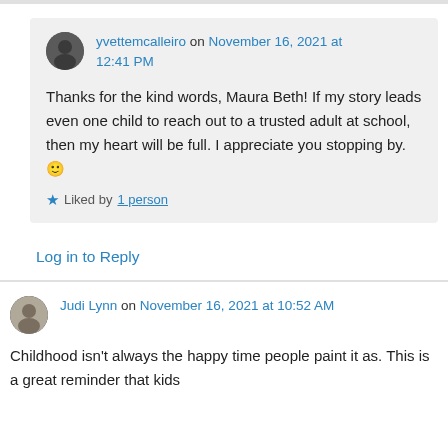yvettemcalleiro on November 16, 2021 at 12:41 PM
Thanks for the kind words, Maura Beth! If my story leads even one child to reach out to a trusted adult at school, then my heart will be full. I appreciate you stopping by. 🙂
Liked by 1 person
Log in to Reply
Judi Lynn on November 16, 2021 at 10:52 AM
Childhood isn't always the happy time people paint it as. This is a great reminder that kids